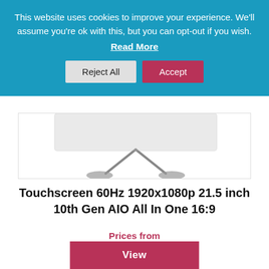This website uses cookies to improve your experience. We'll assume you're ok with this, but you can opt-out if you wish.
Read More
Reject All
Accept
[Figure (photo): Partial view of an all-in-one desktop computer monitor stand/base visible at top, product listing image]
Touchscreen 60Hz 1920x1080p 21.5 inch 10th Gen AIO All In One 16:9
Prices from
Incl. Tax:   £589.00   Excl. Tax:   £490.83
View